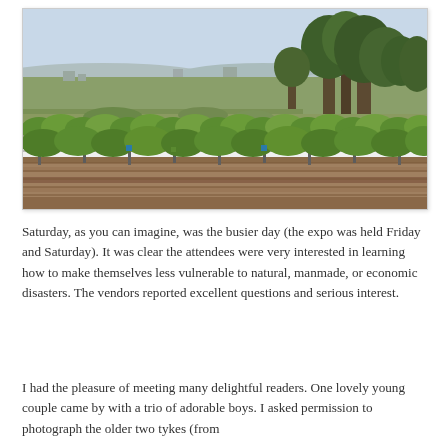[Figure (photo): Outdoor photo of a vineyard in the foreground with rows of green grapevines on a stone/wooden trellis structure, open flat landscape in the middle ground, and trees on the right side, with hills and a pale sky in the background.]
Saturday, as you can imagine, was the busier day (the expo was held Friday and Saturday). It was clear the attendees were very interested in learning how to make themselves less vulnerable to natural, manmade, or economic disasters. The vendors reported excellent questions and serious interest.
I had the pleasure of meeting many delightful readers. One lovely young couple came by with a trio of adorable boys. I asked permission to photograph the older two tykes (from